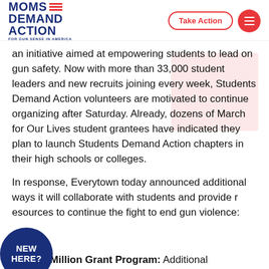MOMS DEMAND ACTION FOR GUN SENSE IN AMERICA
an initiative aimed at empowering students to lead on gun safety. Now with more than 33,000 student leaders and new recruits joining every week, Students Demand Action volunteers are motivated to continue organizing after Saturday. Already, dozens of March for Our Lives student grantees have indicated they plan to launch Students Demand Action chapters in their high schools or colleges.
In response, Everytown today announced additional ways it will collaborate with students and provide resources to continue the fight to end gun violence:
[Figure (logo): NEW HERE? circular badge in navy blue]
New $1 Million Grant Program: Additional